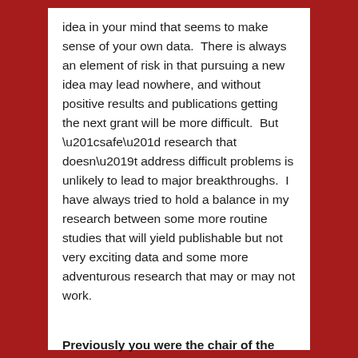idea in your mind that seems to make sense of your own data.  There is always an element of risk in that pursuing a new idea may lead nowhere, and without positive results and publications getting the next grant will be more difficult.  But “safe” research that doesn’t address difficult problems is unlikely to lead to major breakthroughs.  I have always tried to hold a balance in my research between some more routine studies that will yield publishable but not very exciting data and some more adventurous research that may or may not work.
Previously you were the chair of the British Heart Foundation Project Grants Committee, how do you balance been good stewards of money whilst also